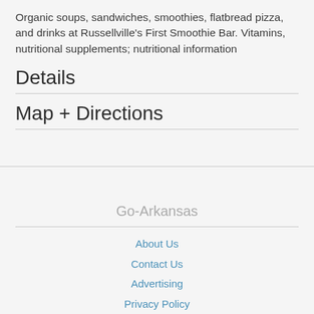Organic soups, sandwiches, smoothies, flatbread pizza, and drinks at Russellville's First Smoothie Bar. Vitamins, nutritional supplements; nutritional information
Details
Map + Directions
Go-Arkansas
About Us
Contact Us
Advertising
Privacy Policy
Help